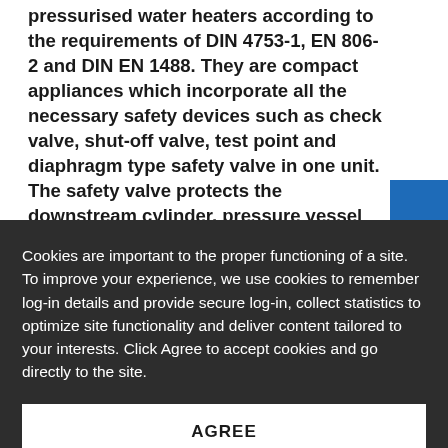pressurised water heaters according to the requirements of DIN 4753-1, EN 806-2 and DIN EN 1488. They are compact appliances which incorporate all the necessary safety devices such as check valve, shut-off valve, test point and diaphragm type safety valve in one unit. The safety valve protects the downstream cylinder, pressure vessel etc. by automatically opening when excess pressure occurs. The check valve prevents back pressure, backflow and back syphonage of water from the hot water unit
Cookies are important to the proper functioning of a site. To improve your experience, we use cookies to remember log-in details and provide secure log-in, collect statistics to optimize site functionality and deliver content tailored to your interests. Click Agree to accept cookies and go directly to the site.
AGREE